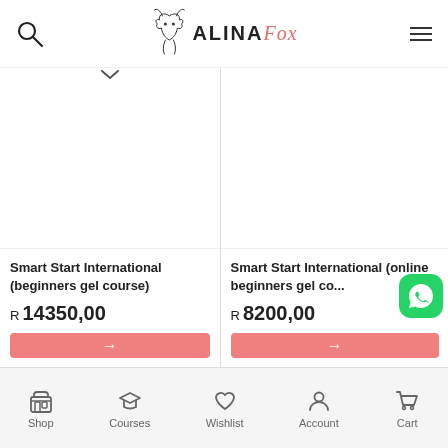ALINA Fox
[Figure (screenshot): Product image area for Smart Start International (beginners gel course) - white/blank product image area]
Smart Start International (beginners gel course)
R 14350,00
[Figure (screenshot): Product image area for Smart Start International (online beginners gel course) - white/blank product image area]
Smart Start International (online beginners gel co...
R 8200,00
Shop  Courses  Wishlist  Account  Cart